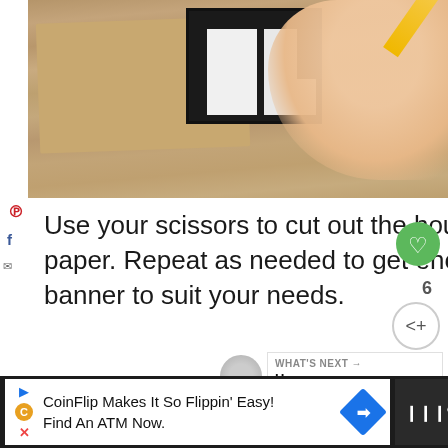[Figure (photo): Photo of craft paper with house-shaped templates and a person's hand holding a pencil on a wood-grain surface]
Use your scissors to cut out the house shapes you've traced on the craft paper. Repeat as needed to get enough houses to make a long enough banner to suit your needs.
WHAT'S NEXT → House Hunting...
CoinFlip Makes It So Flippin' Easy! Find An ATM Now.